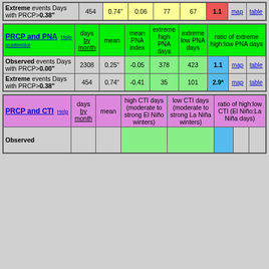|  | days by month | mean | mean PNA index / high CTI days | extreme high PNA days | extreme low PNA days | ratio of extreme high:low PNA days |  |  |
| --- | --- | --- | --- | --- | --- | --- | --- | --- |
| Observed events Days with PRCP>0.00" | 2308 | 0.25" | -0.05 | 378 | 423 | 1.1 | map | table |
| Extreme events Days with PRCP>0.38" | 454 | 0.74" | -0.41 | 35 | 101 | 2.9* | map | table |
| PRCP and CTI Help | days by month | mean | high CTI days (moderate to strong El Niño winters) | low CTI days (moderate to strong La Niña winters) | ratio of high:low CTI (El Niño:La Niña days) |  |  |
| --- | --- | --- | --- | --- | --- | --- | --- |
| Observed |  |  |  |  |  |  |  |